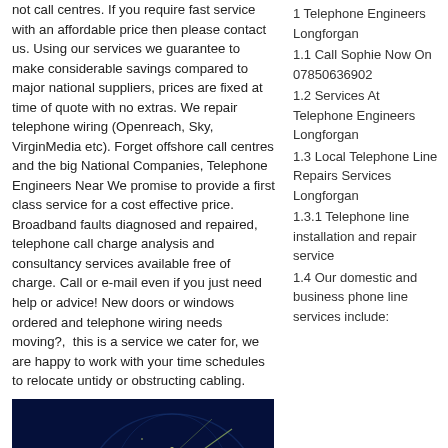not call centres. If you require fast service with an affordable price then please contact us. Using our services we guarantee to make considerable savings compared to major national suppliers, prices are fixed at time of quote with no extras. We repair telephone wiring (Openreach, Sky, VirginMedia etc). Forget offshore call centres and the big National Companies, Telephone Engineers Near We promise to provide a first class service for a cost effective price. Broadband faults diagnosed and repaired, telephone call charge analysis and consultancy services available free of charge. Call or e-mail even if you just need help or advice! New doors or windows ordered and telephone wiring needs moving?,  this is a service we cater for, we are happy to work with your time schedules to relocate untidy or obstructing cabling.
[Figure (photo): Dark image of a globe with phone call icon in a black circle on the left side]
1 Telephone Engineers Longforgan
1.1 Call Sophie Now On 07850636902
1.2 Services At Telephone Engineers Longforgan
1.3 Local Telephone Line Repairs Services Longforgan
1.3.1 Telephone line installation and repair service
1.4 Our domestic and business phone line services include: